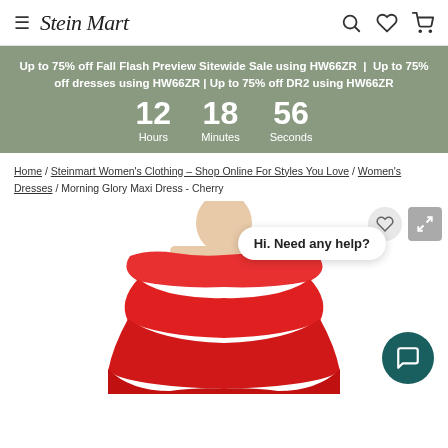≡  Stein Mart  [search] [heart] [cart]
Up to 75% off Fall Flash Preview Sitewide Sale using HW66ZR | Up to 75% off dresses using HW66ZR | Up to 75% off DR2 using HW66ZR  12 Hours  18 Minutes  56 Seconds
Home / Steinmart Women's Clothing – Shop Online For Styles You Love / Women's Dresses / Morning Glory Maxi Dress - Cherry
[Figure (photo): Woman wearing a red off-shoulder ruffle maxi dress (Morning Glory Maxi Dress in Cherry). Chat widget overlay with 'Hi. Need any help?' bubble and teal chat button.]